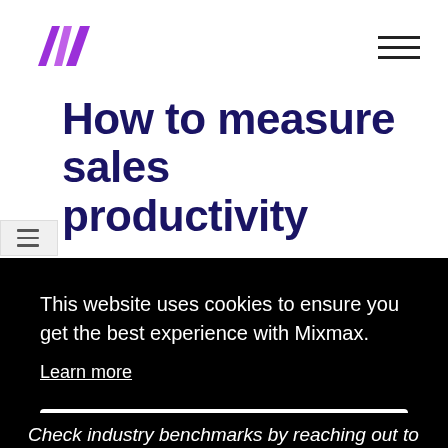Mixmax logo and navigation
How to measure sales productivity
This website uses cookies to ensure you get the best experience with Mixmax.
Learn more
Got it!
Check industry benchmarks by reaching out to